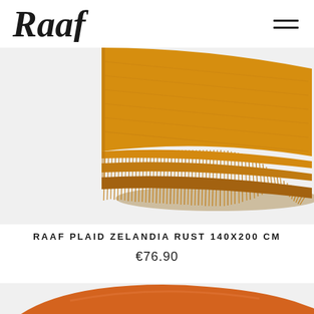Raaf (logo) — navigation hamburger menu
[Figure (photo): An ochre/rust colored folded wool plaid/throw blanket with long fringe tassels, photographed on a light gray background. The blanket is folded showing its textured surface and fringe edge.]
RAAF PLAID ZELANDIA RUST 140X200 CM
€76.90
[Figure (photo): Partial view of an orange/rust colored cushion or pillow, cropped at the bottom of the page.]